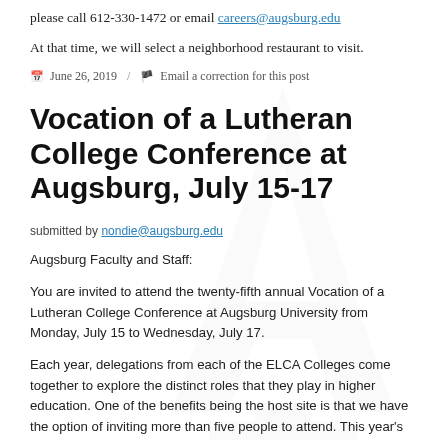please call 612-330-1472 or email careers@augsburg.edu
At that time, we will select a neighborhood restaurant to visit.
June 26, 2019 / Email a correction for this post
Vocation of a Lutheran College Conference at Augsburg, July 15-17
submitted by nondie@augsburg.edu
Augsburg Faculty and Staff:
You are invited to attend the twenty-fifth annual Vocation of a Lutheran College Conference at Augsburg University from Monday, July 15 to Wednesday, July 17.
Each year, delegations from each of the ELCA Colleges come together to explore the distinct roles that they play in higher education. One of the benefits being the host site is that we have the option of inviting more than five people to attend. This year's